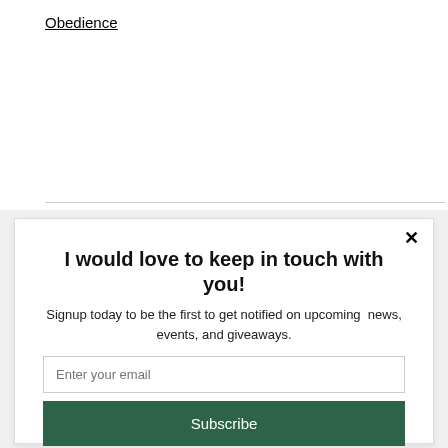Obedience
I would love to keep in touch with you!
Signup today to be the first to get notified on upcoming  news, events, and giveaways.
Enter your email
Subscribe
powered by MailMunch